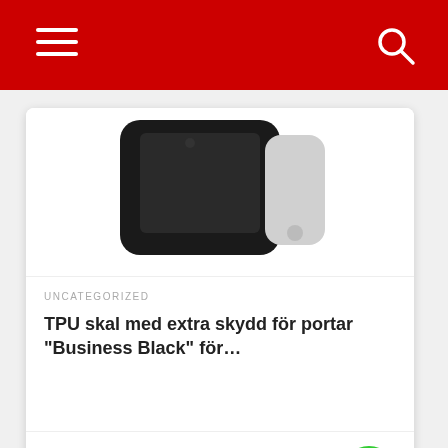[Figure (screenshot): Red navigation header bar with hamburger menu icon on the left and search icon on the right]
[Figure (photo): Product image showing a black TPU phone case (Business Black) on a white background]
UNCATEGORIZED
TPU skal med extra skydd för portar "Business Black" för…
145 kr
[Figure (illustration): Green circular shopping cart button]